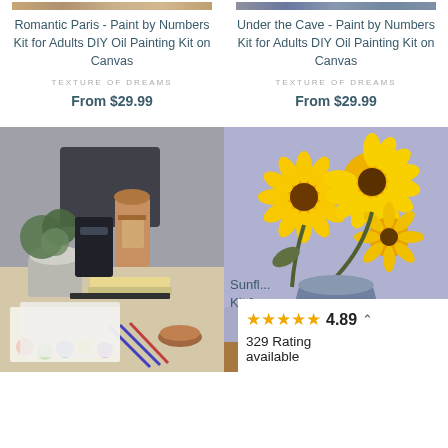[Figure (photo): Cropped top strip of a paint by numbers product image - Romantic Paris]
Romantic Paris - Paint by Numbers Kit for Adults DIY Oil Painting Kit on Canvas
TEXTURE OF DREAMS
From $29.99
[Figure (photo): Cropped top strip of a paint by numbers product image - Under the Cave]
Under the Cave - Paint by Numbers Kit for Adults DIY Oil Painting Kit on Canvas
TEXTURE OF DREAMS
From $29.99
[Figure (photo): Photo of painting supplies including plant, coffee maker, notebooks, paint pots, and brushes on a table]
[Figure (photo): Painting of sunflowers in a vase with fruits on a table, lavender background]
Sunfl... Kit fr...
4.89
329 Rating available